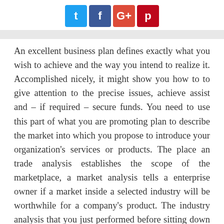[Figure (other): Social media share buttons: Twitter (blue), Facebook (dark blue), Google+ (red), Pinterest (red)]
An excellent business plan defines exactly what you wish to achieve and the way you intend to realize it. Accomplished nicely, it might show you how to to give attention to the precise issues, achieve assist and – if required – secure funds. You need to use this part of what you are promoting plan to describe the market into which you propose to introduce your organization's services or products. The place an trade analysis establishes the scope of the marketplace, a market analysis tells a enterprise owner if a market inside a selected industry will be worthwhile for a company's product. The industry analysis that you just performed before sitting down to put in writing your online business plan can be included into it to